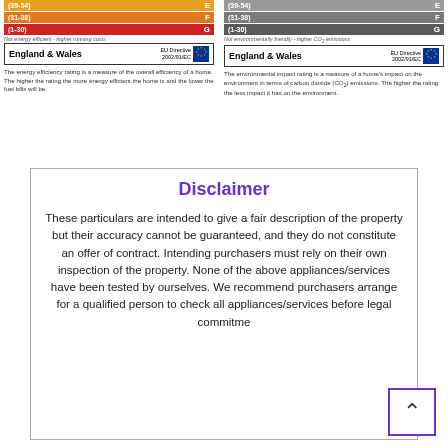[Figure (infographic): Energy efficiency rating EPC bands E, F, G shown in orange/red colours with England & Wales EU Directive label]
The energy efficiency rating is a measure of the overall efficiency of a home. The higher the rating the more energy efficient the home is and the lower the fuel bills will be.
[Figure (infographic): Environmental impact rating EPC bands E, F, G shown in grey colours with England & Wales EU Directive label]
The environmental impact rating is a measure of a home's impact on the environment in terms of carbon dioxide (CO2) emissions. The higher the rating the less impact it has on the environment.
Disclaimer
These particulars are intended to give a fair description of the property but their accuracy cannot be guaranteed, and they do not constitute an offer of contract. Intending purchasers must rely on their own inspection of the property. None of the above appliances/services have been tested by ourselves. We recommend purchasers arrange for a qualified person to check all appliances/services before legal commitment.